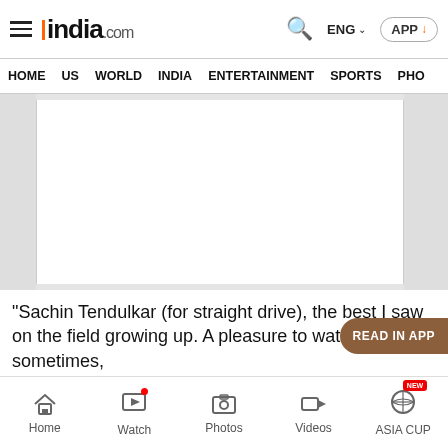india.com — ENG APP
HOME | US | WORLD | INDIA | ENTERTAINMENT | SPORTS | PHO
[Figure (other): Advertisement / placeholder image area with gray background and white center panel]
“Sachin Tendulkar (for straight drive), the best I saw on the field growing up. A pleasure to watch sometimes,
Home | Watch | Photos | Videos | ASIA CUP